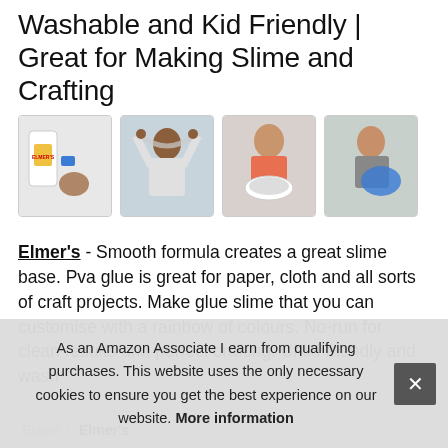Washable and Kid Friendly | Great for Making Slime and Crafting
[Figure (photo): Four product images: Elmer's glue bottle with slime supplies, girl stretching slime, boy holding slime bowl, boy playing with blue slime]
Elmer's - Smooth formula creates a great slime base. Pva glue is great for paper, cloth and all sorts of craft projects. Make glue slime that you can customise with a rainbow of colours. No-run for clean results and perfect crafting. Child friendly and washable, perfect for children under 8.
As an Amazon Associate I earn from qualifying purchases. This website uses the only necessary cookies to ensure you get the best experience on our website. More information
Brand  Elmer's